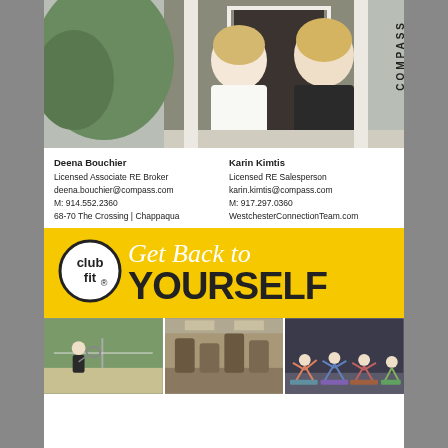[Figure (photo): Two blonde women sitting on steps in front of a door; one wearing white shirt and glasses, one wearing black outfit. COMPASS text vertically on right side.]
Deena Bouchier
Licensed Associate RE Broker
deena.bouchier@compass.com
M: 914.552.2360
68-70 The Crossing | Chappaqua
Karin Kimtis
Licensed RE Salesperson
karin.kimtis@compass.com
M: 917.297.0360
WestchesterConnectionTeam.com
[Figure (infographic): Club fit advertisement with yellow background. Logo circle with 'club fit' text. Script text 'Get Back to' in white and bold black 'YOURSELF'. Three photos below: tennis player, gym equipment, yoga class.]